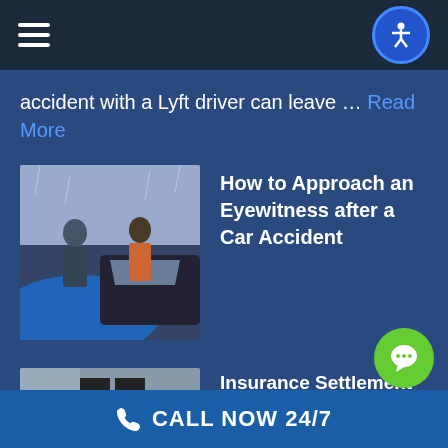Navigation bar with hamburger menu and accessibility button
accident with a Lyft driver can leave … Read More
[Figure (photo): Two people standing near crashed cars, car accident scene with blue and black vehicles]
How to Approach an Eyewitness after a Car Accident
[Figure (photo): Person standing near a vehicle, lower body visible, insurance/accident related scene]
Insurance Settlement Offer Too Low After St Louis A… Accident
CALL NOW 24/7